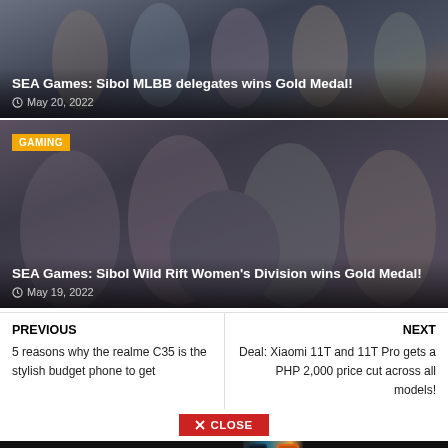[Figure (photo): Group photo of Sibol MLBB delegates, esports team in black and gold jerseys, top article card]
SEA Games: Sibol MLBB delegates wins Gold Medal!
May 20, 2022
[Figure (photo): Group photo of Sibol Wild Rift Women's Division esports team in black uniforms with PILIPINAS branding, second article card]
SEA Games: Sibol Wild Rift Women's Division wins Gold Medal!
May 19, 2022
PREVIOUS
5 reasons why the realme C35 is the stylish budget phone to get
NEXT
Deal: Xiaomi 11T and 11T Pro gets a PHP 2,000 price cut across all models!
CLOSE
[Figure (photo): vivo X80 Series 5G advertisement banner — ZEISS PROFESSIONAL IMAGING, Ultimate Aesthetic Design, 3D Curved AMOLED Display]